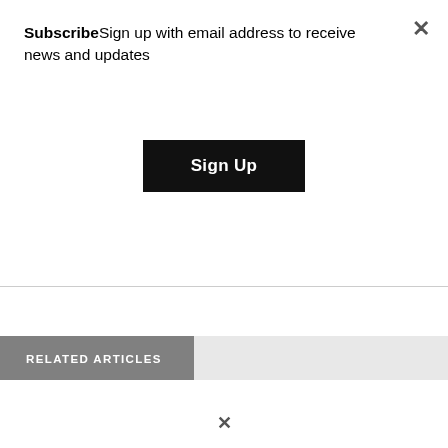SubscribeSign up with email address to receive news and updates
Sign Up
RELATED ARTICLES